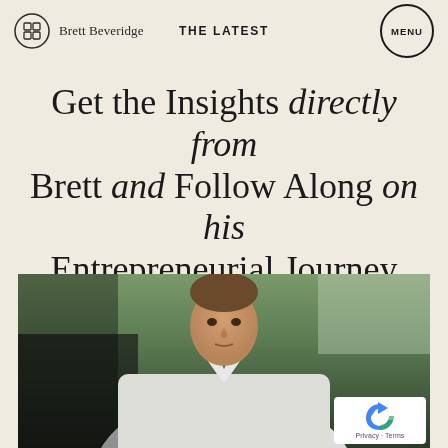Brett Beveridge — THE LATEST — MENU
Get the Insights directly from Brett and Follow Along on his Entrepreneurial Journey
[Figure (photo): Professional headshot of Brett Beveridge wearing a white dress shirt, seated, with green foliage background]